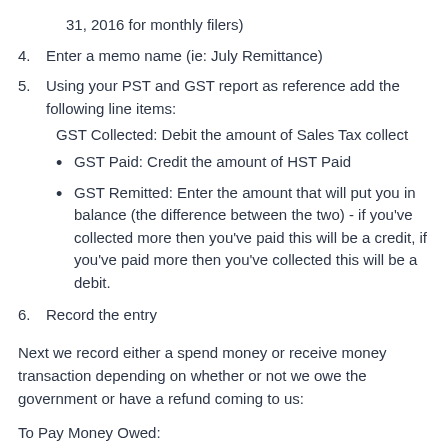31, 2016 for monthly filers)
4. Enter a memo name (ie: July Remittance)
5. Using your PST and GST report as reference add the following line items:
GST Collected: Debit the amount of Sales Tax collect
GST Paid: Credit the amount of HST Paid
GST Remitted: Enter the amount that will put you in balance (the difference between the two) - if you've collected more then you've paid this will be a credit, if you've paid more then you've collected this will be a debit.
6. Record the entry
Next we record either a spend money or receive money transaction depending on whether or not we owe the government or have a refund coming to us:
To Pay Money Owed: